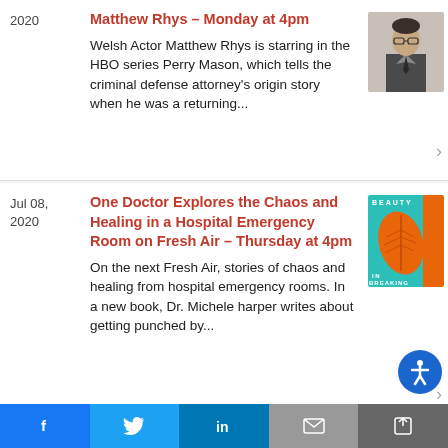2020 | Matthew Rhys – Monday at 4pm | Welsh Actor Matthew Rhys is starring in the HBO series Perry Mason, which tells the criminal defense attorney's origin story when he was a returning...
Jul 08, 2020 | One Doctor Explores the Chaos and Healing in a Hospital Emergency Room on Fresh Air – Thursday at 4pm | On the next Fresh Air, stories of chaos and healing from hospital emergency rooms. In a new book, Dr. Michele harper writes about getting punched by...
Jul 07, 2020 | Sarah Posner Talks About...